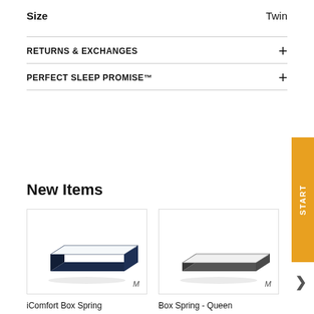Size  Twin
RETURNS & EXCHANGES
PERFECT SLEEP PROMISE™
New Items
[Figure (photo): iComfort box spring mattress with navy blue sides, white top, shown at angle]
iComfort Box Spring Twin XL
[Figure (photo): Box spring mattress with dark grey sides and white top, shown at angle]
Box Spring - Queen